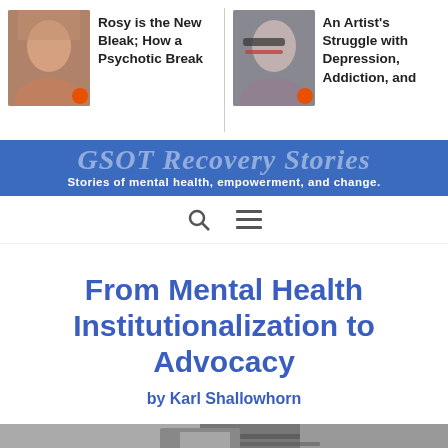[Figure (screenshot): Navigation item with photo of blonde woman and text 'Rosy is the New Bleak; How a Psychotic Break']
[Figure (screenshot): Navigation item with photo of woman with glasses and text 'An Artist's Struggle with Depression, Addiction, and']
GSOT Recovery Stories
Stories of mental health, empowerment, and change.
From Mental Health Institutionalization to Advocacy
by Karl Shallowhorn
[Figure (photo): Partial photo of desk with notebook, pen, and paper]
[Figure (infographic): Social share bar with Twitter, Facebook, Email, SMS, and other sharing icons]